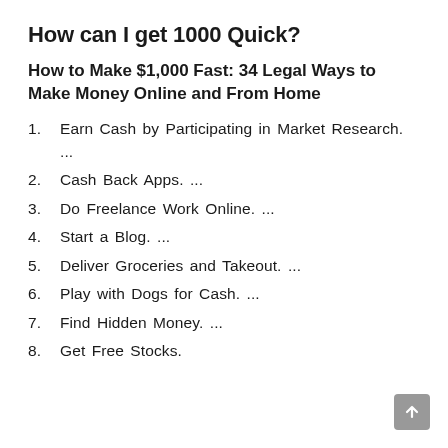How can I get 1000 Quick?
How to Make $1,000 Fast: 34 Legal Ways to Make Money Online and From Home
Earn Cash by Participating in Market Research. ...
Cash Back Apps. ...
Do Freelance Work Online. ...
Start a Blog. ...
Deliver Groceries and Takeout. ...
Play with Dogs for Cash. ...
Find Hidden Money. ...
Get Free Stocks.